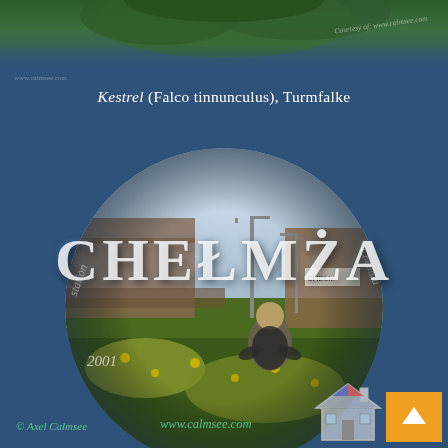[Figure (photo): Top strip showing partial bird/nature photo with green foliage and dark blue background]
Kestrel (Falco tinnunculus), Turmfalke
[Figure (photo): Circular cropped photograph of a man crouching among wildflowers at Chełmża railway station in 2001, with station building visible in background. Overlaid with large CHEŁMŻA text, rotated labels 'station' and '2001'.]
© Axel Calmsee
www.calmsee.com